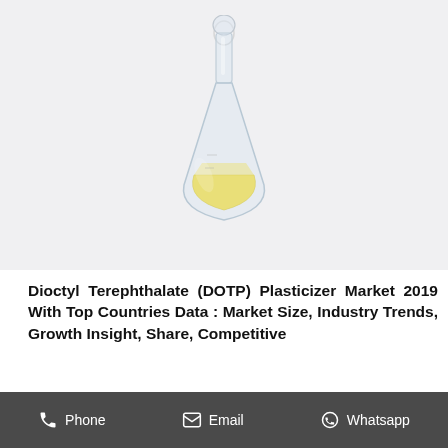[Figure (photo): A glass Erlenmeyer flask with a glass stopper containing a yellow liquid (Dioctyl Terephthalate / DOTP plasticizer), photographed against a white/light grey background.]
Dioctyl Terephthalate (DOTP) Plasticizer Market 2019 With Top Countries Data : Market Size, Industry Trends, Growth Insight, Share, Competitive
Global Dioctyl Terephthalate (DOTP) Plasticizer market
Phone   Email   Whatsapp